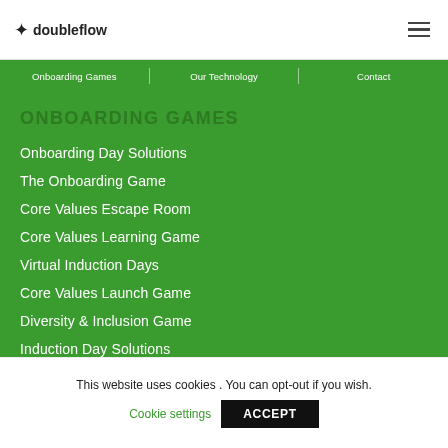doubleflow
Onboarding Games | Our Technology | Contact
ONBOARDING GAMES
Onboarding Day Solutions
The Onboarding Game
Core Values Escape Room
Core Values Learning Game
Virtual Induction Days
Core Values Launch Game
Diversity & Inclusion Game
Induction Day Solutions
This website uses cookies . You can opt-out if you wish. Cookie settings ACCEPT